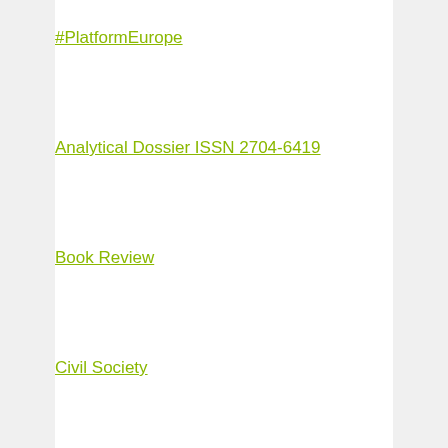#PlatformEurope
Analytical Dossier ISSN 2704-6419
Book Review
Civil Society
Cooperation
Cultural Diplomacy
Cultural Heritage
Dialogue of Civilizations
Economics
Education